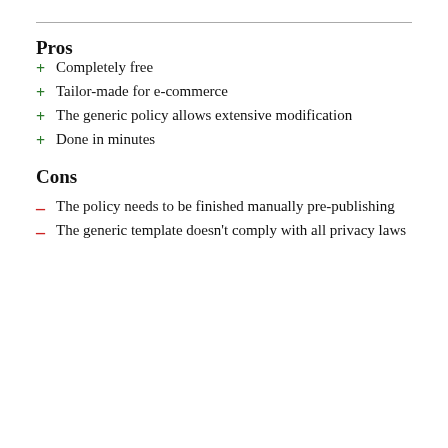Pros
+ Completely free
+ Tailor-made for e-commerce
+ The generic policy allows extensive modification
+ Done in minutes
Cons
– The policy needs to be finished manually pre-publishing
– The generic template doesn't comply with all privacy laws